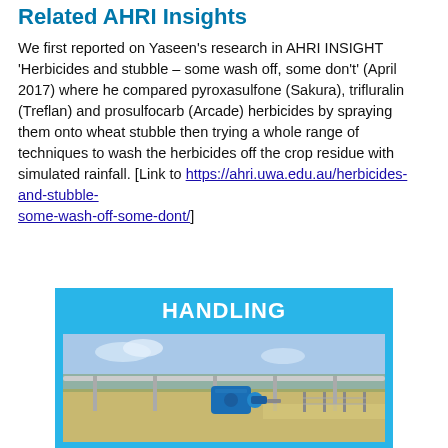Related AHRI Insights
We first reported on Yaseen's research in AHRI INSIGHT 'Herbicides and stubble – some wash off, some don't' (April 2017) where he compared pyroxasulfone (Sakura), trifluralin (Treflan) and prosulfocarb (Arcade) herbicides by spraying them onto wheat stubble then trying a whole range of techniques to wash the herbicides off the crop residue with simulated rainfall. [Link to https://ahri.uwa.edu.au/herbicides-and-stubble-some-wash-off-some-dont/]
[Figure (photo): Photograph of grain handling equipment (conveyor belt with blue electric motor) in a field setting, inside a blue banner labeled HANDLING]